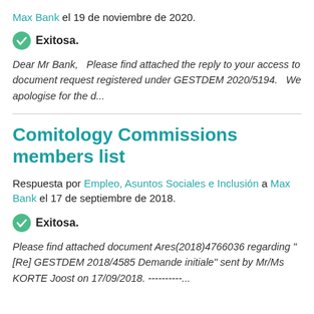Max Bank el 19 de noviembre de 2020.
Exitosa.
Dear Mr Bank,   Please find attached the reply to your access to document request registered under GESTDEM 2020/5194.   We apologise for the d...
Comitology Commissions members list
Respuesta por Empleo, Asuntos Sociales e Inclusión a Max Bank el 17 de septiembre de 2018.
Exitosa.
Please find attached document Ares(2018)4766036 regarding " [Re] GESTDEM 2018/4585 Demande initiale" sent by Mr/Ms KORTE Joost on 17/09/2018. ----------...